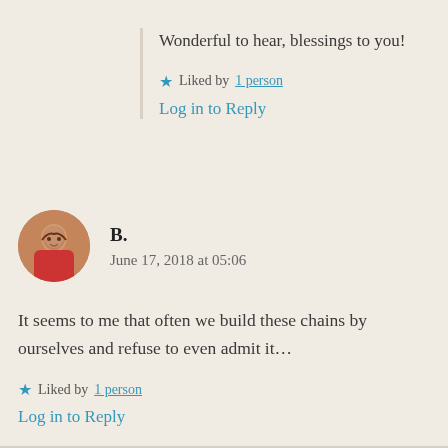Wonderful to hear, blessings to you!
★ Liked by 1 person
Log in to Reply
B.
June 17, 2018 at 05:06
It seems to me that often we build these chains by ourselves and refuse to even admit it…
★ Liked by 1 person
Log in to Reply